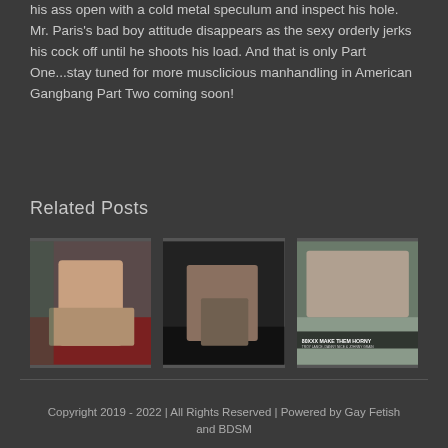his ass open with a cold metal speculum and inspect his hole. Mr. Paris's bad boy attitude disappears as the sexy orderly jerks his cock off until he shoots his load. And that is only Part One...stay tuned for more musclicious manhandling in American Gangbang Part Two coming soon!
Related Posts
[Figure (photo): Thumbnail image 1 - person on red backdrop]
[Figure (photo): Thumbnail image 2 - person on dark background]
[Figure (photo): Thumbnail image 3 - group scene with 80XXX MAKE THEM HORNY text overlay]
Copyright 2019 - 2022 | All Rights Reserved | Powered by Gay Fetish and BDSM